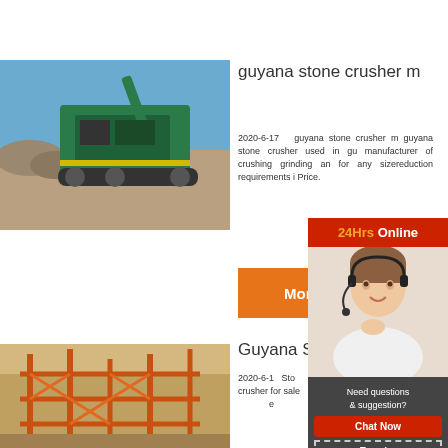[Figure (photo): Green mobile stone crusher machine at a quarry/construction site with blue sky background]
guyana stone crusher m
2020-6-17  guyana stone crusher m guyana stone crusher used in gu manufacturer of crushing grinding an for any sizereduction requirements i Price.
[Figure (photo): Customer service representative with headset smiling]
24Hrs Online
Need questions & suggestion?
Chat Now
Enquiry
limingjlmofen
[Figure (photo): Orange steel construction framework / crusher structure at a mining site]
Guyana S r
2020-6-1   Sto me Ffw Cost of sto ru crusher for sale p crusher workin e